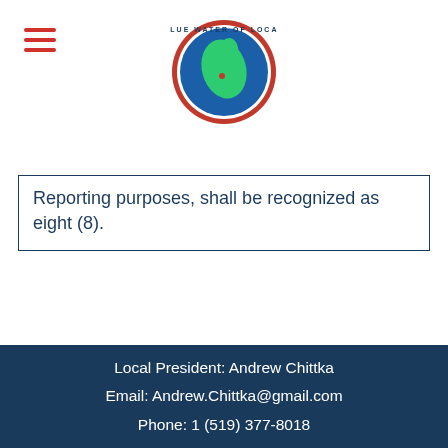[Figure (logo): Blue Water of Local circular logo with green map shape on blue background, red border]
Reporting purposes, shall be recognized as eight (8).
Local President: Andrew Chittka
Email: Andrew.Chittka@gmail.com
Phone: 1 (519) 377-8018